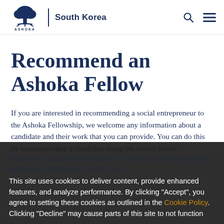ASHOKA | South Korea
Recommend an Ashoka Fellow
If you are interested in recommending a social entrepreneur to the Ashoka Fellowship, we welcome any information about a candidate and their work that you can provide. You can do this by recommending a candidate using the button below.
Please also read carefully through the five selection criteria and analyze performance. By clicking "Accept", you agree to setting these cookies as outlined in the Cookie Policy. Clicking "Decline" may cause parts of this site to not function